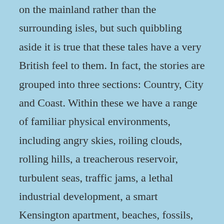on the mainland rather than the surrounding isles, but such quibbling aside it is true that these tales have a very British feel to them. In fact, the stories are grouped into three sections: Country, City and Coast. Within these we have a range of familiar physical environments, including angry skies, roiling clouds, rolling hills, a treacherous reservoir, turbulent seas, traffic jams, a lethal industrial development, a smart Kensington apartment, beaches, fossils, cliffs, seagulls and old country houses. The supernatural or strange entities include a legendary nuisance ghost dog, a pre-Christian tribe in the hills near the Kent coast, a kind of human caterpillar, a mysterious Twitter account, a mythical hill-walker, a dead artist who may or may not live within his paintings, and a siren.